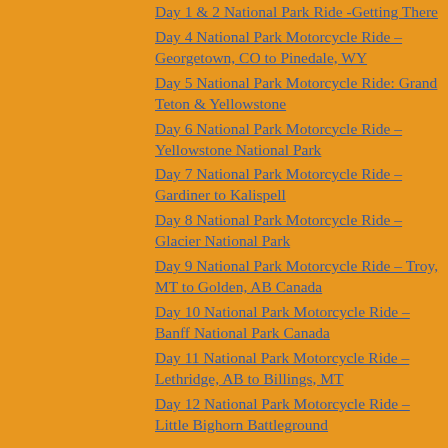Day 1 & 2 National Park Ride -Getting There
Day 4 National Park Motorcycle Ride – Georgetown, CO to Pinedale, WY
Day 5 National Park Motorcycle Ride: Grand Teton & Yellowstone
Day 6 National Park Motorcycle Ride – Yellowstone National Park
Day 7 National Park Motorcycle Ride – Gardiner to Kalispell
Day 8 National Park Motorcycle Ride – Glacier National Park
Day 9 National Park Motorcycle Ride – Troy, MT to Golden, AB Canada
Day 10 National Park Motorcycle Ride – Banff National Park Canada
Day 11 National Park Motorcycle Ride – Lethridge, AB to Billings, MT
Day 12 National Park Motorcycle Ride – Little Bighorn Battleground